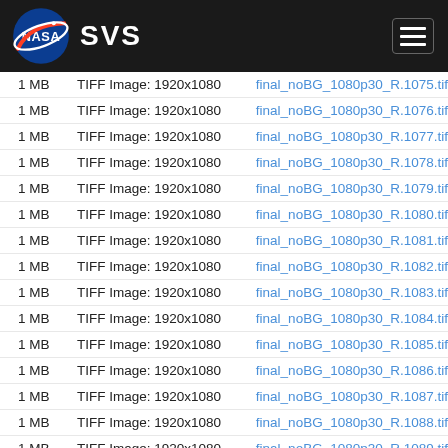NASA SVS
| Size | Type | Filename |
| --- | --- | --- |
| 1 MB | TIFF Image: 1920x1080 | final_noBG_1080p30_R.1075.tif |
| 1 MB | TIFF Image: 1920x1080 | final_noBG_1080p30_R.1076.tif |
| 1 MB | TIFF Image: 1920x1080 | final_noBG_1080p30_R.1077.tif |
| 1 MB | TIFF Image: 1920x1080 | final_noBG_1080p30_R.1078.tif |
| 1 MB | TIFF Image: 1920x1080 | final_noBG_1080p30_R.1079.tif |
| 1 MB | TIFF Image: 1920x1080 | final_noBG_1080p30_R.1080.tif |
| 1 MB | TIFF Image: 1920x1080 | final_noBG_1080p30_R.1081.tif |
| 1 MB | TIFF Image: 1920x1080 | final_noBG_1080p30_R.1082.tif |
| 1 MB | TIFF Image: 1920x1080 | final_noBG_1080p30_R.1083.tif |
| 1 MB | TIFF Image: 1920x1080 | final_noBG_1080p30_R.1084.tif |
| 1 MB | TIFF Image: 1920x1080 | final_noBG_1080p30_R.1085.tif |
| 1 MB | TIFF Image: 1920x1080 | final_noBG_1080p30_R.1086.tif |
| 1 MB | TIFF Image: 1920x1080 | final_noBG_1080p30_R.1087.tif |
| 1 MB | TIFF Image: 1920x1080 | final_noBG_1080p30_R.1088.tif |
| 1 MB | TIFF Image: 1920x1080 | final_noBG_1080p30_R.1089.tif |
| 1 MB | TIFF Image: 1920x1080 | final_noBG_1080p30_R.1090.tif |
| 1 MB | TIFF Image: 1920x1080 | final_noBG_1080p30_R.1091.tif |
| 1 MB | TIFF Image: 1920x1080 | final_noBG_1080p30_R.1092.tif |
| 1 MB | TIFF Image: 1920x1080 | final_noBG_1080p30_R.1093.tif |